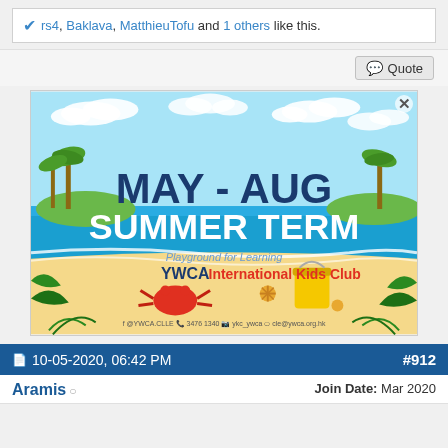rs4, Baklava, MatthieuTofu and 1 others like this.
Quote
[Figure (illustration): YWCA International Kids Club advertisement banner showing a summer beach scene with palm trees, ocean, sand, crab, starfish, and text MAY - AUG SUMMER TERM. Playground for Learning. YWCA International Kids Club.]
10-05-2020, 06:42 PM  #912
Aramis  Join Date: Mar 2020